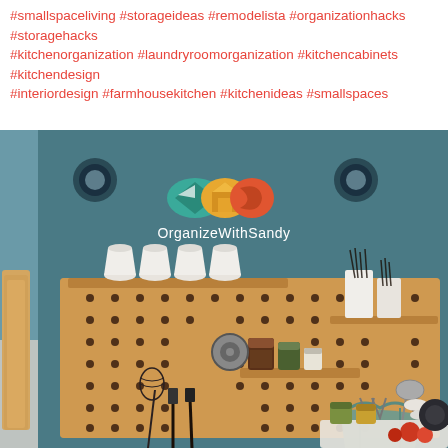#smallspaceliving #storageideas #remodelista #organizationhacks #storagehacks
#kitchenorganization #laundryroomorganization #kitchencabinets #kitchendesign
#interiordesign #farmhousekitchen #kitchenideas #smallspaces
[Figure (photo): Kitchen pegboard organizer mounted on a teal/dark blue-green wall, with wooden pegboard holding white ceramic cups, kitchen utensils (whisk, spatula, ladle), spice jars, hanging apron, and small bowls. Brand logo 'OrganizeWithSandy' overlaid on the image.]